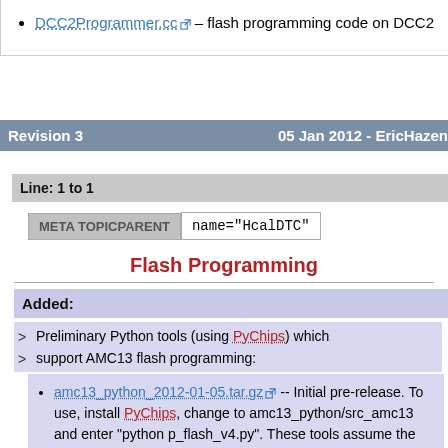DCC2Programmer.cc – flash programming code on DCC2
Revision 3    05 Jan 2012 - EricHazen
Line: 1 to 1
META TOPICPARENT   name="HcalDTC"
Flash Programming
Added:
> Preliminary Python tools (using PyChips) which
> support AMC13 flash programming:
amc13_python_2012-01-05.tar.gz -- Initial pre-release. To use, install PyChips, change to amc13_python/src_amc13 and enter "python p_flash_v4.py". These tools assume the default I/P address of 192.168.1.20 for